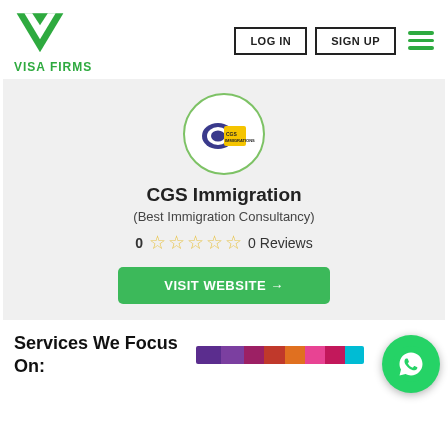[Figure (logo): Visa Firms logo: green downward chevron/V shape with inner white V, with text VISA FIRMS in green below]
LOG IN
SIGN UP
[Figure (logo): CGS Immigration circular logo with green border, shows CGS Immigrations text in gold and dark colors]
CGS Immigration
(Best Immigration Consultancy)
0 ☆☆☆☆☆ 0 Reviews
VISIT WEBSITE →
Services We Focus On:
[Figure (infographic): Horizontal multi-color bar showing service category colors: purple, violet, dark red, red, orange, pink, dark pink, teal/cyan segments]